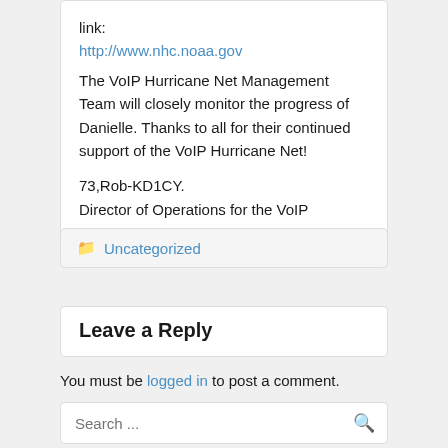link:
http://www.nhc.noaa.gov
The VoIP Hurricane Net Management Team will closely monitor the progress of Danielle. Thanks to all for their continued support of the VoIP Hurricane Net!
73,Rob-KD1CY.
Director of Operations for the VoIP Hurricane Net
Uncategorized
Leave a Reply
You must be logged in to post a comment.
Search ...